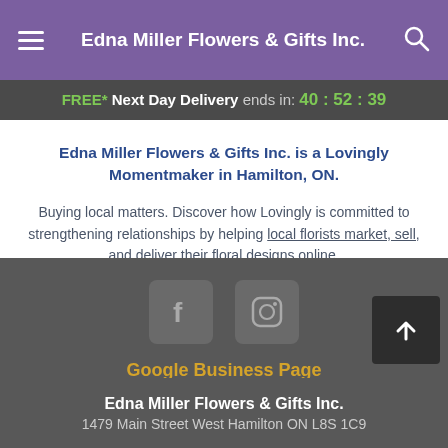Edna Miller Flowers & Gifts Inc.
FREE* Next Day Delivery ends in: 40:52:39
Edna Miller Flowers & Gifts Inc. is a Lovingly Momentmaker in Hamilton, ON.
Buying local matters. Discover how Lovingly is committed to strengthening relationships by helping local florists market, sell, and deliver their floral designs online.
[Figure (screenshot): Social media icons: Facebook and Instagram, both in gray square boxes on dark gray background]
Google Business Page
Edna Miller Flowers & Gifts Inc.
1479 Main Street West Hamilton ON L8S 1C9